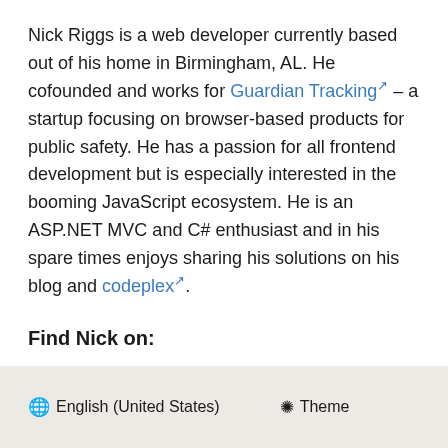Nick Riggs is a web developer currently based out of his home in Birmingham, AL. He cofounded and works for Guardian Tracking – a startup focusing on browser-based products for public safety. He has a passion for all frontend development but is especially interested in the booming JavaScript ecosystem. He is an ASP.NET MVC and C# enthusiast and in his spare times enjoys sharing his solutions on his blog and codeplex.
Find Nick on:
Nick's Blog
Twitter: @nickriggs
English (United States)   Theme